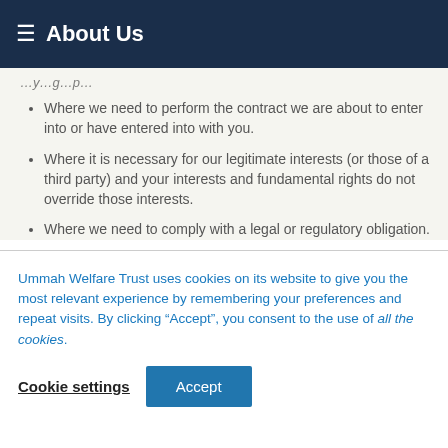About Us
Where we need to perform the contract we are about to enter into or have entered into with you.
Where it is necessary for our legitimate interests (or those of a third party) and your interests and fundamental rights do not override those interests.
Where we need to comply with a legal or regulatory obligation.
Ummah Welfare Trust uses cookies on its website to give you the most relevant experience by remembering your preferences and repeat visits. By clicking “Accept”, you consent to the use of all the cookies.
Cookie settings
Accept